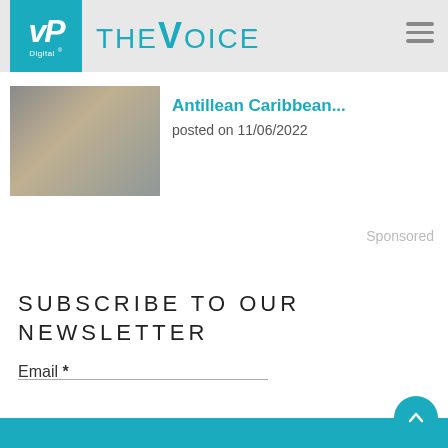VP Digital | THE VOICE
[Figure (photo): Article thumbnail showing a man in a dark suit at an event with chairs in background]
Antillean Caribbean...
posted on 11/06/2022
Sponsored
SUBSCRIBE TO OUR NEWSLETTER
Email *